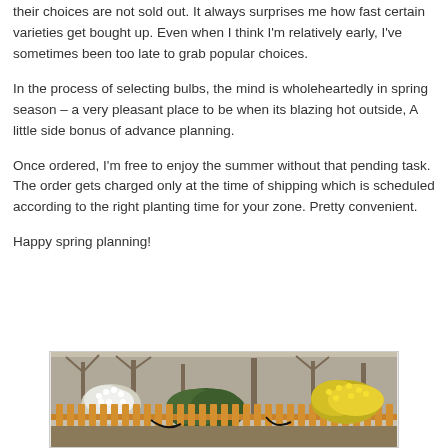their choices are not sold out. It always surprises me how fast certain varieties get bought up. Even when I think I'm relatively early, I've sometimes been too late to grab popular choices.
In the process of selecting bulbs, the mind is wholeheartedly in spring season – a very pleasant place to be when its blazing hot outside, A little side bonus of advance planning.
Once ordered, I'm free to enjoy the summer without that pending task. The order gets charged only at the time of shipping which is scheduled according to the right planting time for your zone. Pretty convenient.
Happy spring planning!
[Figure (photo): A garden scene showing flowering shrubs and a wooden picket fence with trees in the background, photographed in spring.]